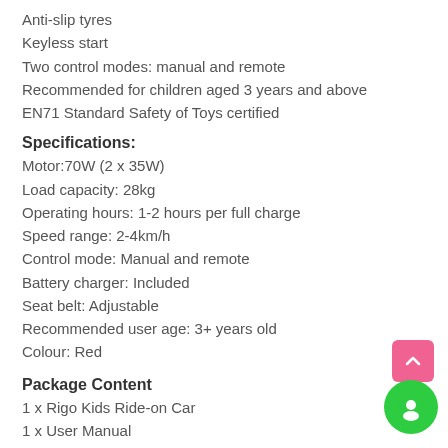Anti-slip tyres
Keyless start
Two control modes: manual and remote
Recommended for children aged 3 years and above
EN71 Standard Safety of Toys certified
Specifications:
Motor:70W (2 x 35W)
Load capacity: 28kg
Operating hours: 1-2 hours per full charge
Speed range: 2-4km/h
Control mode: Manual and remote
Battery charger: Included
Seat belt: Adjustable
Recommended user age: 3+ years old
Colour: Red
Package Content
1 x Rigo Kids Ride-on Car
1 x User Manual